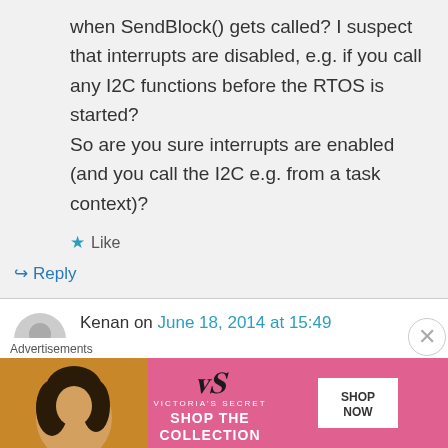when SendBlock() gets called? I suspect that interrupts are disabled, e.g. if you call any I2C functions before the RTOS is started?
So are you sure interrupts are enabled (and you call the I2C e.g. from a task context)?
Like
Reply
Kenan on June 18, 2014 at 15:49
Hi Erich,
Advertisements
[Figure (infographic): Victoria's Secret advertisement banner with woman's photo on left, VS logo and SHOP THE COLLECTION text in center on pink background, and SHOP NOW button on right]